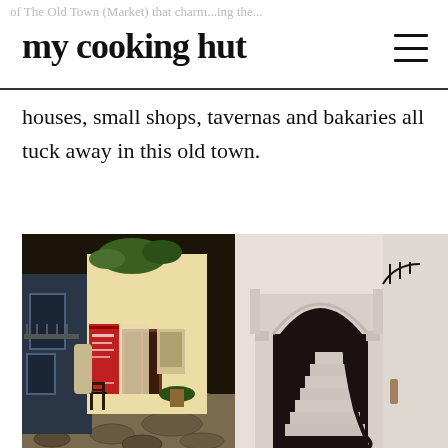my cooking hut
houses, small shops, tavernas and bakaries all tuck away in this old town.
[Figure (photo): Two side-by-side photos of a Greek old town. Left: a nighttime alley scene with stone paving, a cafe chair, illuminated shop doorways with red banner signs, and potted plants on balconies. Right: a white-washed archway with stone steps and a black wrought-iron handrail inside a traditional building.]